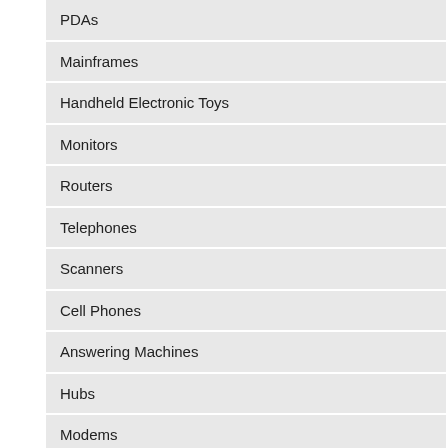PDAs
Mainframes
Handheld Electronic Toys
Monitors
Routers
Telephones
Scanners
Cell Phones
Answering Machines
Hubs
Modems
Fax Machines
Keyboards